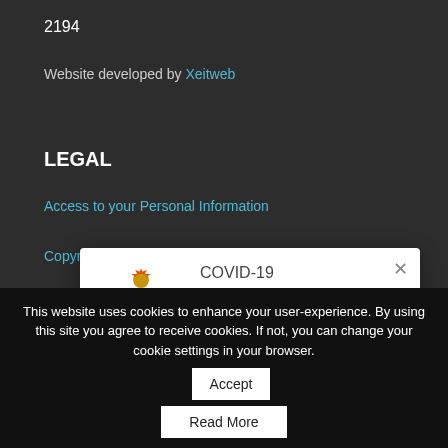2194
Website developed by Xeitweb
LEGAL
Access to your Personal Information
Copyright Notice
Te...
Pri...
[Figure (infographic): COVID-19 notification popup with South Africa coat of arms, title 'COVID-19', text 'Stay informed with official news & stats:', and link 'SAcoronavirus.co.za'. Has an X close button.]
This website uses cookies to enhance your user-experience. By using this site you agree to receive cookies. If not, you can change your cookie settings in your browser.
Accept
Read More